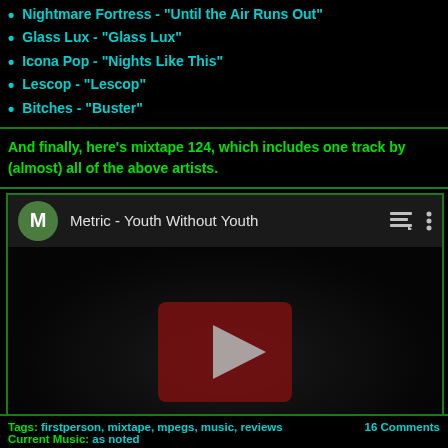Nightmare Fortress - "Until the Air Runs Out"
Glass Lux - "Glass Lux"
Icona Pop - "Nights Like This"
Lescop - "Lescop"
Bitches - "Buster"
And finally, here's mixtape 124, which includes one track by (almost) all of the above artists.
[Figure (screenshot): YouTube video embed showing 'Metric - Youth Without Youth' with a green avatar with letter M, play button overlay on dark video thumbnail, and Vevo watermark]
Tags: firstperson, mixtape, mpegs, music, reviews
Current Music: as noted
16 Comments